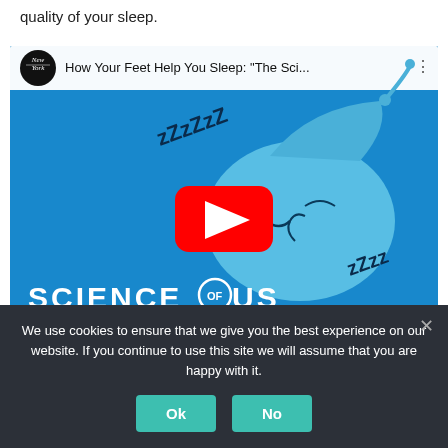quality of your sleep.
[Figure (screenshot): YouTube video thumbnail for 'How Your Feet Help You Sleep: The Sci...' from Science of Us / New York magazine channel. Blue background with cartoon sleeping brain wearing a nightcap, ZZZ letters, and a red YouTube play button. Text at bottom reads SCIENCE OF US.]
Whilst there are other ways to keep cool at night, removing
We use cookies to ensure that we give you the best experience on our website. If you continue to use this site we will assume that you are happy with it.